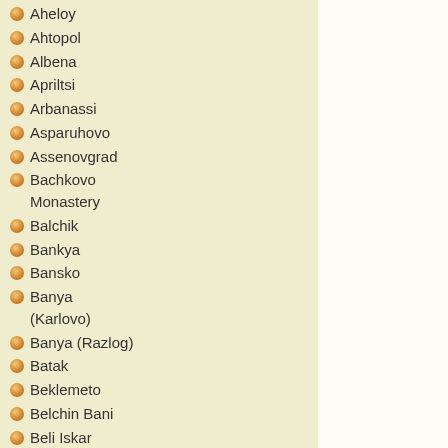Aheloy
Ahtopol
Albena
Apriltsi
Arbanassi
Asparuhovo
Assenovgrad
Bachkovo Monastery
Balchik
Bankya
Bansko
Banya (Karlovo)
Banya (Razlog)
Batak
Beklemeto
Belchin Bani
Beli Iskar
Belogradchik
Berkovitsa
Blagoevgrad
Bodrost
Bojichen
Borovets
Botevgrad
Bourgas
Bozhentsi
Bratsigovo